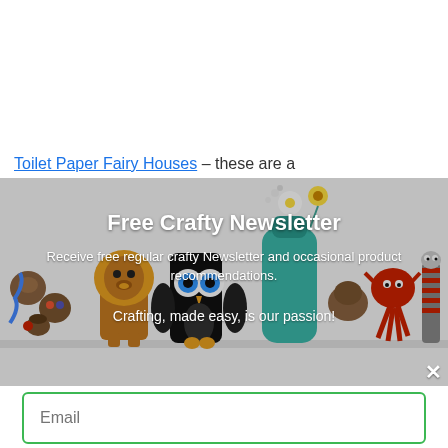Toilet Paper Fairy Houses – these are a
[Figure (photo): A banner photo showing various crafted figures made from toilet paper rolls and other materials: small animal/monster figurines, an owl-like character, a tall teal bottle with white daisy flowers, and a red spider/octopus character on a white shelf background. Overlaid with a newsletter signup modal.]
Free Crafty Newsletter
Receive free regular crafty Newsletter and occasional product recommendations.
Crafting, made easy, is our passion!
Email
SUBSCRIBE